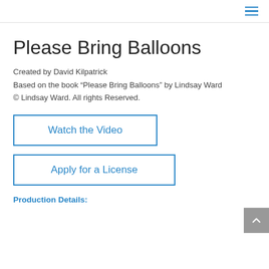≡ (navigation menu icon)
Please Bring Balloons
Created by David Kilpatrick
Based on the book “Please Bring Balloons” by Lindsay Ward
© Lindsay Ward. All rights Reserved.
Watch the Video
Apply for a License
Production Details: